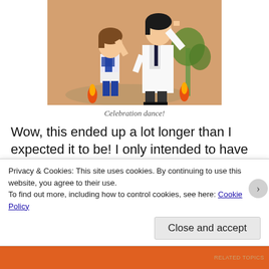[Figure (illustration): Anime illustration showing two characters — a shorter character in a school uniform and a taller character in a white lab coat — appearing to dance or celebrate, with a warm orange background.]
Celebration dance!
Wow, this ended up a lot longer than I expected it to be! I only intended to have two brief paragraphs detailing what I liked about each of of these animes. Apparently I had more to say about some of them than I thought I did. Luckily the next couple of days in my journey to complete the 12 Days of Anime are more or less planned out in my head. I'm hoping I
Privacy & Cookies: This site uses cookies. By continuing to use this website, you agree to their use.
To find out more, including how to control cookies, see here: Cookie Policy
Close and accept